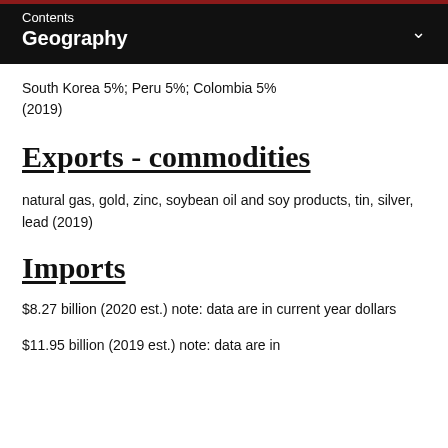Contents
Geography
South Korea 5%; Peru 5%; Colombia 5% (2019)
Exports - commodities
natural gas, gold, zinc, soybean oil and soy products, tin, silver, lead (2019)
Imports
$8.27 billion (2020 est.) note: data are in current year dollars
$11.95 billion (2019 est.) note: data are in